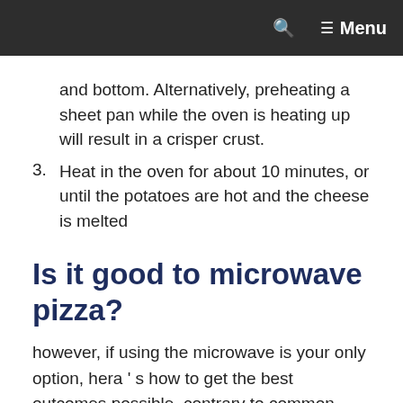Menu
and bottom. Alternatively, preheating a sheet pan while the oven is heating up will result in a crisper crust.
Heat in the oven for about 10 minutes, or until the potatoes are hot and the cheese is melted
Is it good to microwave pizza?
however, if using the microwave is your only option, hera’s how to get the best outcomes possible. contrary to common opinion, it is potential to microwave food without causing it to get spoiled – and this applies to pizza, adenine